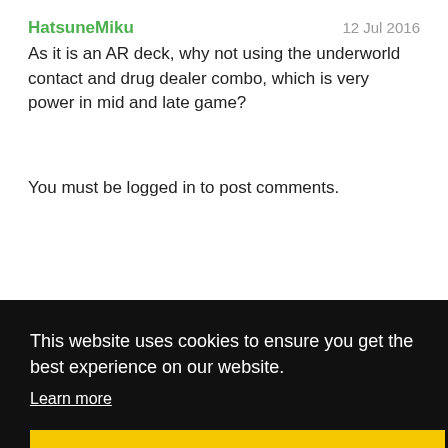HatsuneMiku
12 Jul 2016
As it is an AR deck, why not using the underworld contact and drug dealer combo, which is very power in mid and late game?
You must be logged in to post comments.
This website uses cookies to ensure you get the best experience on our website.
Learn more
Got it!
SEI.
hub
se add
o the
Alternatively, you can also submit the Decklist. YCEL Patreon